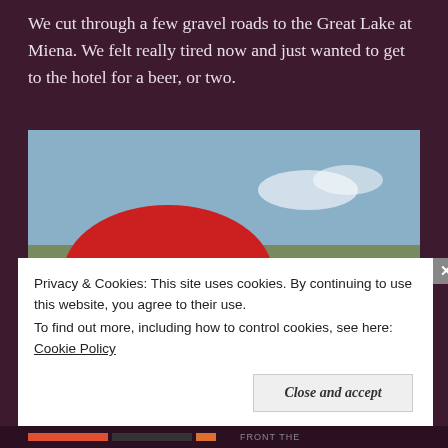We cut through a few gravel roads to the Great Lake at Miena. We felt really tired now and just wanted to get to the hotel for a beer, or two.
[Figure (photo): A selfie taken by a cyclist wearing a red helmet and sunglasses on a rural road. Behind them, two other cyclists wearing yellow and blue jackets ride toward the camera on a straight road flanked by dry grassland.]
Privacy & Cookies: This site uses cookies. By continuing to use this website, you agree to their use.
To find out more, including how to control cookies, see here: Cookie Policy
Close and accept